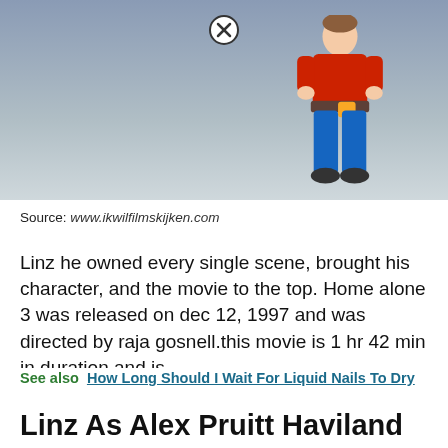[Figure (photo): A child character dressed in a red jacket with a tool belt, standing against a blueish-grey gradient background. A close/X button circle icon appears at the top.]
Source: www.ikwilfilmskijken.com
Linz he owned every single scene, brought his character, and the movie to the top. Home alone 3 was released on dec 12, 1997 and was directed by raja gosnell.this movie is 1 hr 42 min in duration and is.
See also  How Long Should I Wait For Liquid Nails To Dry
Linz As Alex Pruitt Haviland Morris As Karen Pruitt Ck Kruno As